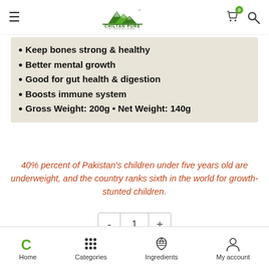Chiltan Pure International — navigation header
Keep bones strong & healthy
Better mental growth
Good for gut health & digestion
Boosts immune system
Gross Weight: 200g • Net Weight: 140g
40% percent of Pakistan's children under five years old are underweight, and the country ranks sixth in the world for growth-stunted children.
Home | Categories | Ingredients | My account